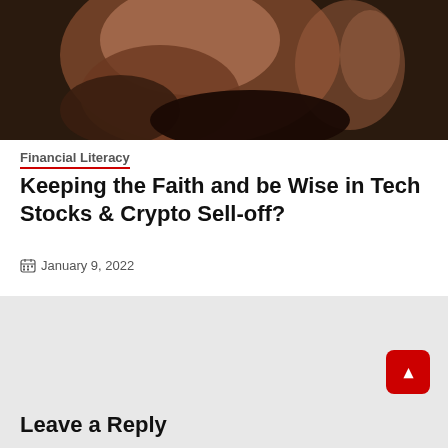[Figure (photo): Close-up photo of a child praying, hands clasped together near face, dark background with warm skin tones]
Financial Literacy
Keeping the Faith and be Wise in Tech Stocks & Crypto Sell-off?
January 9, 2022
Previous: Contrarian Investment Strategies – Rule 1 to 21
Next: Vallianz – Dragged by Swiber and Shares Placement?
Leave a Reply